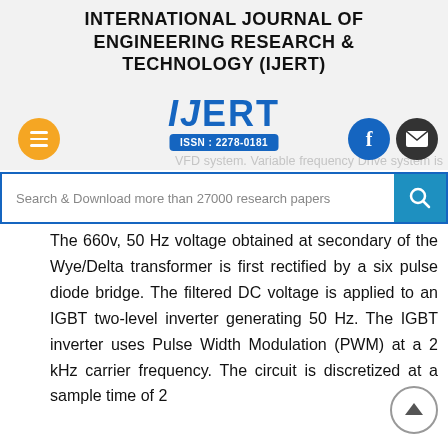INTERNATIONAL JOURNAL OF ENGINEERING RESEARCH & TECHNOLOGY (IJERT)
[Figure (logo): IJERT logo with ISSN: 2278-0181 badge in blue]
VFD system. Variable frequency Drive system is made up of PWM Inverter, Hz, voltagesource feed a 3HP induction motor
Search & Download more than 27000 research papers
The 660v, 50 Hz voltage obtained at secondary of the Wye/Delta transformer is first rectified by a six pulse diode bridge. The filtered DC voltage is applied to an IGBT two-level inverter generating 50 Hz. The IGBT inverter uses Pulse Width Modulation (PWM) at a 2 kHz carrier frequency. The circuit is discretized at a sample time of 2